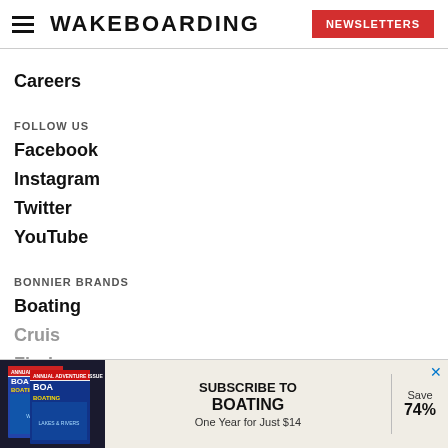WAKEBOARDING | NEWSLETTERS
Careers
FOLLOW US
Facebook
Instagram
Twitter
YouTube
BONNIER BRANDS
Boating
Cruis...
Flori...
[Figure (screenshot): Advertisement banner for Boating magazine subscription: 'SUBSCRIBE TO BOATING - One Year for Just $14 - Save 74%']